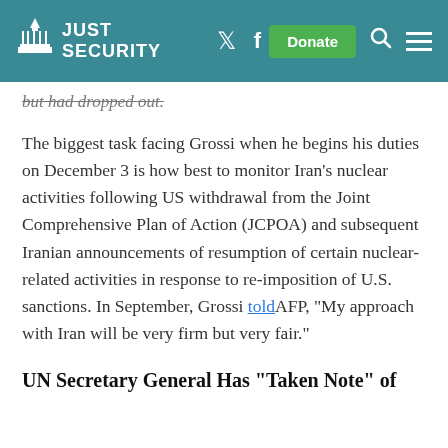Just Security — navigation bar with Twitter, Facebook, Donate, Search, Menu
but had dropped out.
The biggest task facing Grossi when he begins his duties on December 3 is how best to monitor Iran’s nuclear activities following US withdrawal from the Joint Comprehensive Plan of Action (JCPOA) and subsequent Iranian announcements of resumption of certain nuclear-related activities in response to re-imposition of U.S. sanctions. In September, Grossi told AFP, “My approach with Iran will be very firm but very fair.”
UN Secretary General Has “Taken Note” of